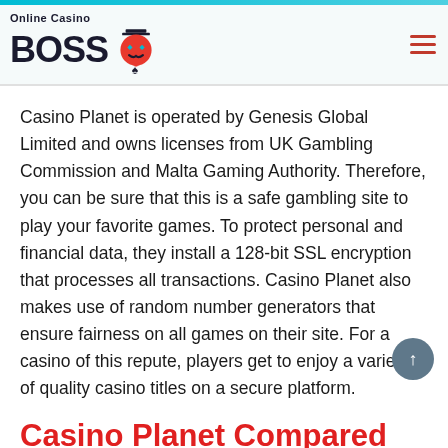Online Casino BOSS [logo]
Casino Planet is operated by Genesis Global Limited and owns licenses from UK Gambling Commission and Malta Gaming Authority. Therefore, you can be sure that this is a safe gambling site to play your favorite games. To protect personal and financial data, they install a 128-bit SSL encryption that processes all transactions. Casino Planet also makes use of random number generators that ensure fairness on all games on their site. For a casino of this repute, players get to enjoy a variety of quality casino titles on a secure platform.
Casino Planet Compared To Other Casinos